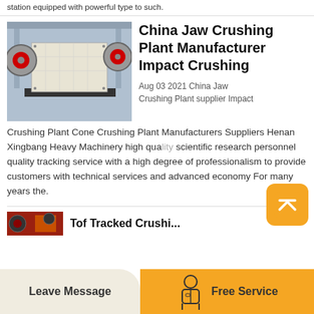station equipped with powerful type to such.
[Figure (photo): Photo of jaw crushing plant machinery in a factory setting, showing large industrial crushing equipment with red flywheels]
China Jaw Crushing Plant Manufacturer Impact Crushing
Aug 03 2021 China Jaw Crushing Plant supplier Impact Crushing Plant Cone Crushing Plant Manufacturers Suppliers Henan Xingbang Heavy Machinery high quality scientific research personnel quality tracking service with a high degree of professionalism to provide customers with technical services and advanced economy For many years the.
[Figure (illustration): Bottom preview image partially visible, appears to be another crushing plant article]
Leave Message   Free Service